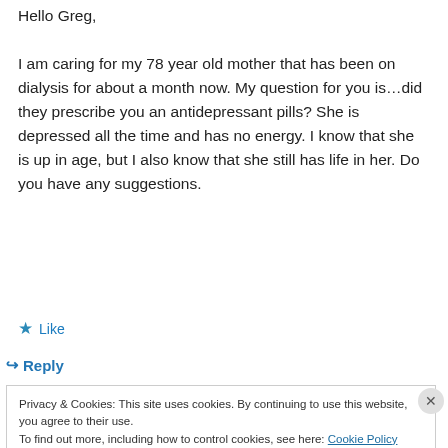Hello Greg,
I am caring for my 78 year old mother that has been on dialysis for about a month now. My question for you is…did they prescribe you an antidepressant pills? She is depressed all the time and has no energy. I know that she is up in age, but I also know that she still has life in her. Do you have any suggestions.
★ Like
↳ Reply
Privacy & Cookies: This site uses cookies. By continuing to use this website, you agree to their use.
To find out more, including how to control cookies, see here: Cookie Policy
Close and accept